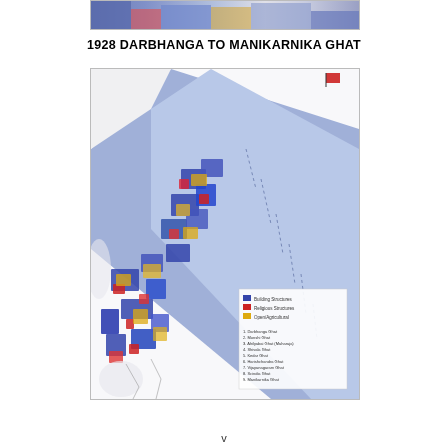[Figure (map): Partial view of a colorful historical map snippet at the top of the page, showing a river area with blue, red, orange, yellow colored land use zones.]
1928 DARBHANGA TO MANIKARNIKA GHAT
[Figure (map): Color map from 1928 showing the Darbhanga to Manikarnika Ghat area along a river (likely Ganges at Varanasi). Features blue areas (religious/temple structures), red areas (residential), yellow/orange areas (open/agricultural land), and a wide blue river. A legend in the lower right identifies building/land use categories. The map is oriented diagonally with the river curving from upper right to lower center-left.]
v